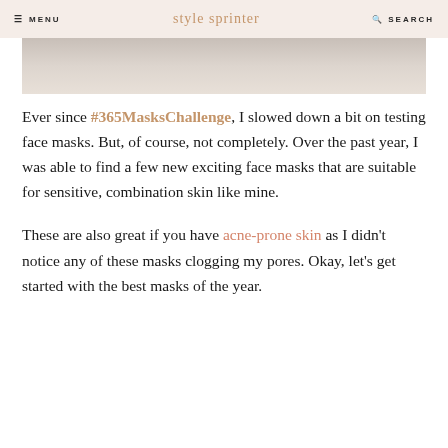MENU  style sprinter  SEARCH
[Figure (photo): Partial photo of a person wearing a light-colored top, cropped to show neck/chest area against a light background]
Ever since #365MasksChallenge, I slowed down a bit on testing face masks. But, of course, not completely. Over the past year, I was able to find a few new exciting face masks that are suitable for sensitive, combination skin like mine.
These are also great if you have acne-prone skin as I didn't notice any of these masks clogging my pores. Okay, let's get started with the best masks of the year.